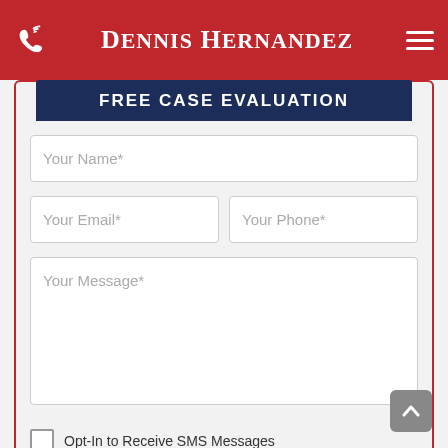Dennis Hernandez
FREE CASE EVALUATION
Your Name*
Your Email*
Your Phone*
Your Message*
Opt-In to Receive SMS Messages
SEND FOR HELP